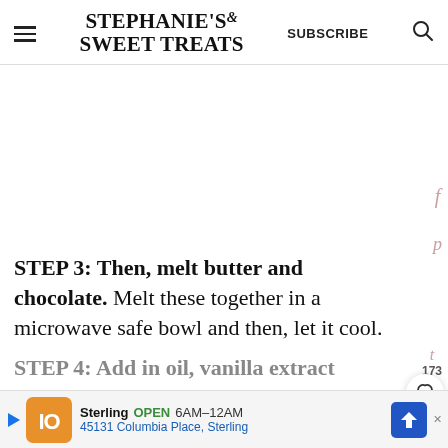STEPHANIE'S SWEET TREATS | SUBSCRIBE
STEP 3: Then, melt butter and chocolate. Melt these together in a microwave safe bowl and then, let it cool.
STEP 4: Add in oil, vanilla extract and the
[Figure (infographic): Ad banner: Sterling OPEN 6AM-12AM, 45131 Columbia Place, Sterling]